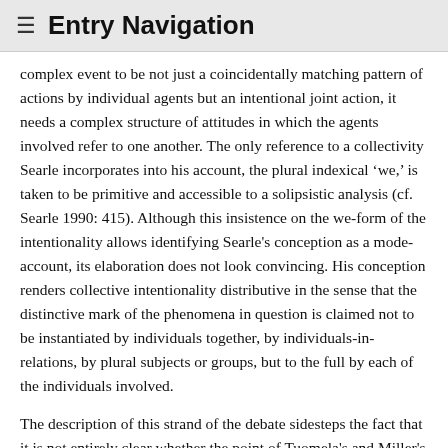≡ Entry Navigation
complex event to be not just a coincidentally matching pattern of actions by individual agents but an intentional joint action, it needs a complex structure of attitudes in which the agents involved refer to one another. The only reference to a collectivity Searle incorporates into his account, the plural indexical 'we,' is taken to be primitive and accessible to a solipsistic analysis (cf. Searle 1990: 415). Although this insistence on the we-form of the intentionality allows identifying Searle's conception as a mode-account, its elaboration does not look convincing. His conception renders collective intentionality distributive in the sense that the distinctive mark of the phenomena in question is claimed not to be instantiated by individuals together, by individuals-in-relations, by plural subjects or groups, but to the full by each of the individuals involved.
The description of this strand of the debate sidesteps the fact that it is not entirely clear whether the point of Tuomela's and Miller's analysis of we-intention is to ...